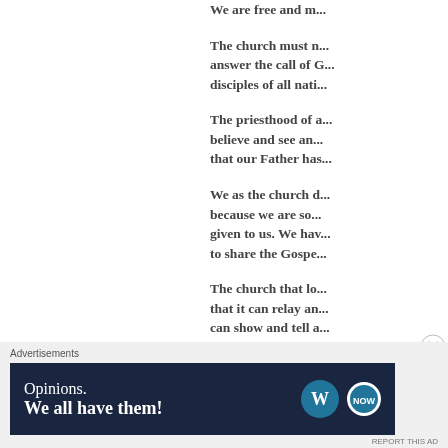We are free and m...
The church must n... answer the call of G... disciples of all nati...
The priesthood of a... believe and see an... that our Father has...
We as the church d... because we are so... given to us. We hav... to share the Gospe...
The church that lo... that it can relay an... can show and tell a... Him, living in faith...
Advertisements
[Figure (screenshot): Advertisement banner: dark navy background with 'Opinions. We all have them!' text in white, WordPress logo and secondary circular logo on right.]